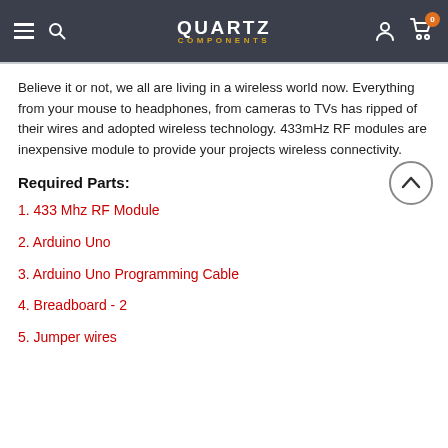QUARTZ COMPONENTS
Believe it or not, we all are living in a wireless world now. Everything from your mouse to headphones, from cameras to TVs has ripped of their wires and adopted wireless technology. 433mHz RF modules are inexpensive module to provide your projects wireless connectivity.
Required Parts:
1. 433 Mhz RF Module
2. Arduino Uno
3. Arduino Uno Programming Cable
4. Breadboard - 2
5. Jumper wires